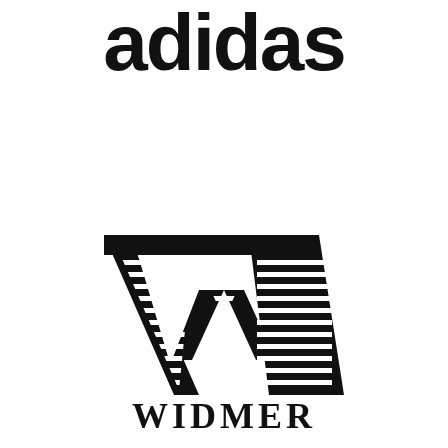[Figure (logo): adidas logo in black bold lowercase lettering, partially cropped at top]
[Figure (logo): Widmer logo: large decorative W with horizontal line fills inside the letterforms, above the word WIDMER in bold black serif capitals]